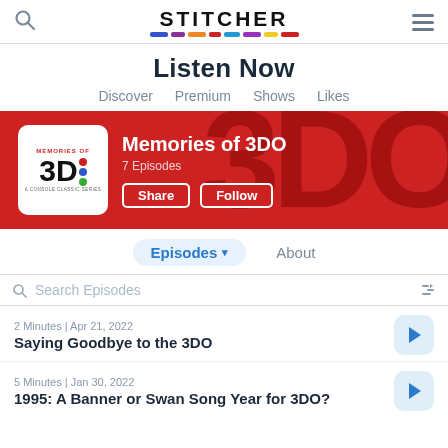Stitcher — Listen Now
Listen Now
Discover
Premium
Shows
Likes
[Figure (screenshot): Memories of 3DO podcast banner with red background showing the podcast cover art, title 'Memories of 3DO', '7 Episodes', and Share/Follow buttons]
Episodes ▾  About
Search Episodes
2 Minutes | Apr 21, 2022
Saying Goodbye to the 3DO
5 Minutes | Jan 30, 2022
1995: A Banner or Swan Song Year for 3DO?